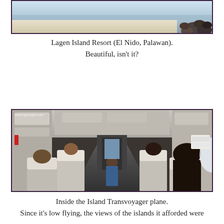[Figure (photo): Partial view of Lagen Island Resort beach scene — white sandy beach, rocks on the right, water in the background.]
Lagen Island Resort (El Nido, Palawan). Beautiful, isn't it?
[Figure (photo): Interior of an Island Transvoyager plane showing rows of seats with passengers seated, aisle running to the cockpit door, overhead panels visible. Watermark reads www.lgeorgia.com.]
Inside the Island Transvoyager plane. Since it's low flying, the views of the islands it afforded were